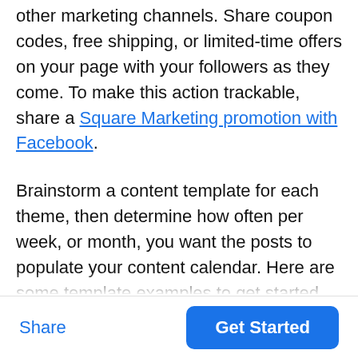other marketing channels. Share coupon codes, free shipping, or limited-time offers on your page with your followers as they come. To make this action trackable, share a Square Marketing promotion with Facebook.
Brainstorm a content template for each theme, then determine how often per week, or month, you want the posts to populate your content calendar. Here are some template examples to get started
Share | Get Started